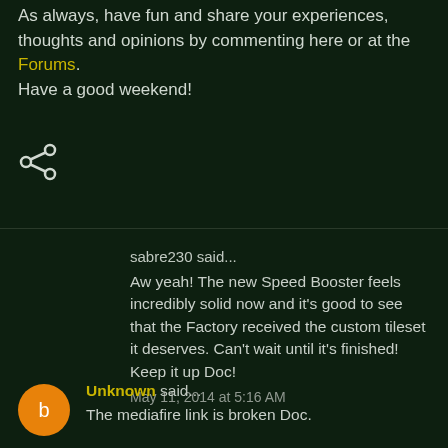As always, have fun and share your experiences, thoughts and opinions by commenting here or at the Forums.
Have a good weekend!
[Figure (other): Share icon (less-than / arrow symbol) in white]
sabre230 said...
Aw yeah! The new Speed Booster feels incredibly solid now and it's good to see that the Factory received the custom tileset it deserves. Can't wait until it's finished! Keep it up Doc!
May 11, 2014 at 5:16 AM
Unknown said...
The mediafire link is broken Doc.